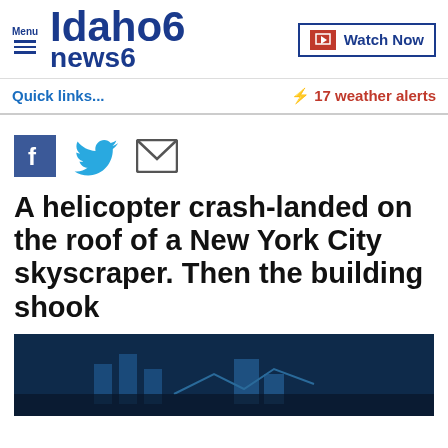Menu | Idaho news6 | Watch Now
Quick links...
⚡ 17 weather alerts
[Figure (illustration): Social share icons: Facebook, Twitter, Email]
A helicopter crash-landed on the roof of a New York City skyscraper. Then the building shook
[Figure (photo): Dark blue-toned photo of a helicopter or rooftop scene at night or low light]